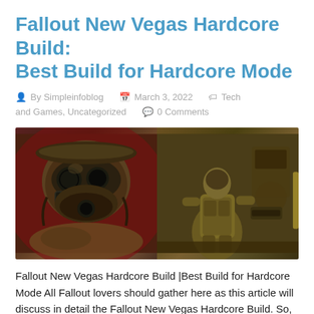Fallout New Vegas Hardcore Build: Best Build for Hardcore Mode
By Simpleinfoblog   March 3, 2022   Tech and Games, Uncategorized   0 Comments
[Figure (photo): Two side-by-side game screenshots from Fallout New Vegas: left shows an NCR Ranger in a gas mask helmet closeup, right shows an armored character in a post-apocalyptic setting.]
Fallout New Vegas Hardcore Build |Best Build for Hardcore Mode All Fallout lovers should gather here as this article will discuss in detail the Fallout New Vegas Hardcore Build. So, this article will be mainly...